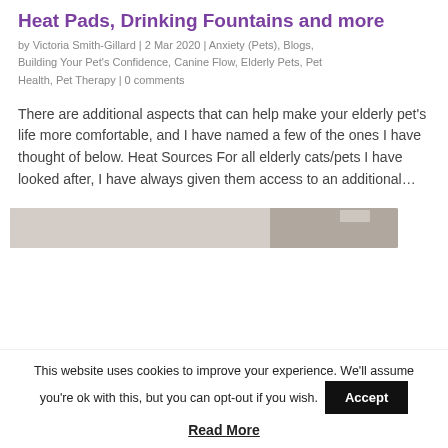Heat Pads, Drinking Fountains and more
by Victoria Smith-Gillard | 2 Mar 2020 | Anxiety (Pets), Blogs, Building Your Pet's Confidence, Canine Flow, Elderly Pets, Pet Health, Pet Therapy | 0 comments
There are additional aspects that can help make your elderly pet’s life more comfortable, and I have named a few of the ones I have thought of below. Heat Sources For all elderly cats/pets I have looked after, I have always given them access to an additional…
[Figure (photo): Partial view of an image, appears to show a pet or interior scene, cropped at top of strip]
This website uses cookies to improve your experience. We’ll assume you’re ok with this, but you can opt-out if you wish.
Accept
Read More